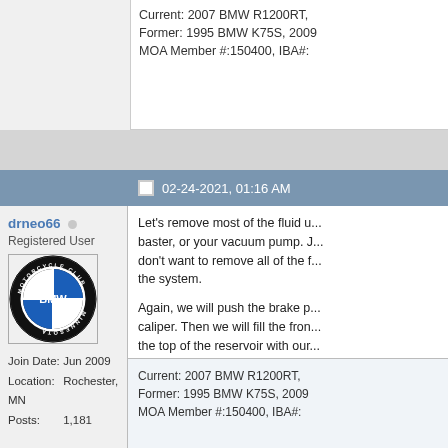Current: 2007 BMW R1200RT, Former: 1995 BMW K75S, 2009 MOA Member #:150400, IBA#:
02-24-2021, 01:16 AM
drneo66
Registered User
[Figure (logo): BMW Motorrad Club Minnesota circular logo, black and white BMW roundel with text around the border]
Join Date: Jun 2009
Location: Rochester, MN
Posts: 1,181
Let's remove most of the fluid u... baster, or your vacuum pump. J... don't want to remove all of the f... the system.

Again, we will push the brake p... caliper. Then we will fill the fron... the top of the reservoir with our...
IMG_9378 2.jpeg
Last edited by drneo66; 02-24-2021 a
Current: 2007 BMW R1200RT, Former: 1995 BMW K75S, 2009 MOA Member #:150400, IBA#: